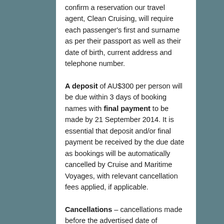confirm a reservation our travel agent, Clean Cruising, will require each passenger's first and surname as per their passport as well as their date of birth, current address and telephone number.
A deposit of AU$300 per person will be due within 3 days of booking names with final payment to be made by 21 September 2014. It is essential that deposit and/or final payment be received by the due date as bookings will be automatically cancelled by Cruise and Maritime Voyages, with relevant cancellation fees applied, if applicable.
Cancellations – cancellations made before the advertised date of